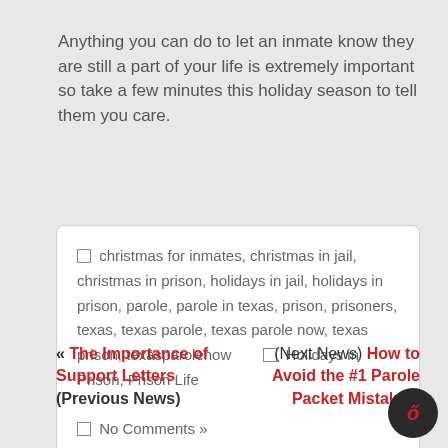Anything you can do to let an inmate know they are still a part of your life is extremely important so take a few minutes this holiday season to tell them you care.
christmas for inmates, christmas in jail, christmas in prison, holidays in jail, holidays in prison, parole, parole in texas, prison, prisoners, texas, texas parole, texas parole now, texas prison, texasparolenow   Holidays in Prison, Prison Life   No Comments »
« The Importance of Support Letters (Previous News)
(Next News) How to Avoid the #1 Parole Packet Mistake »